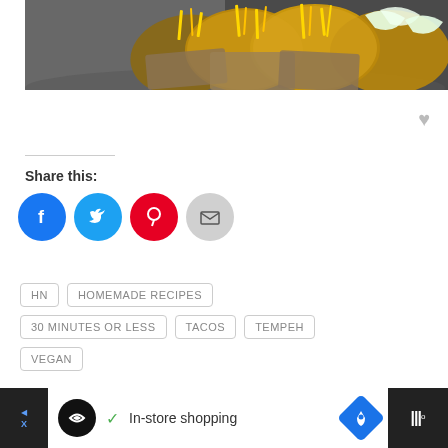[Figure (photo): Close-up photo of tacos with shredded cheese and lettuce in a dark bowl on a gray surface]
Share this:
[Figure (infographic): Social sharing buttons: Facebook (blue circle), Twitter (light blue circle), Pinterest (red circle), Email (gray circle)]
HN
HOMEMADE RECIPES
30 MINUTES OR LESS
TACOS
TEMPEH
VEGAN
[Figure (screenshot): Advertisement bar at bottom: black background with white content area showing Infinity Loop logo, checkmark, In-store shopping text, blue map/navigation icon, and weather widget on far right]